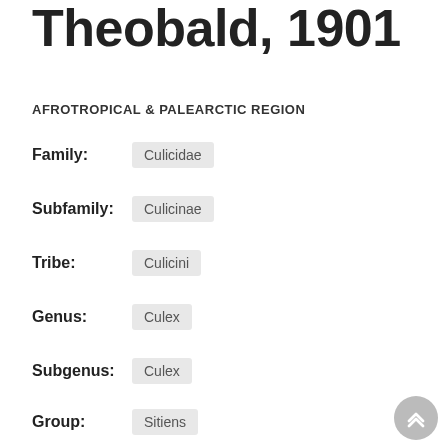Theobald, 1901
AFROTROPICAL & PALEARCTIC REGION
Family: Culicidae
Subfamily: Culicinae
Tribe: Culicini
Genus: Culex
Subgenus: Culex
Group: Sitiens
Subgroup: Vishnui